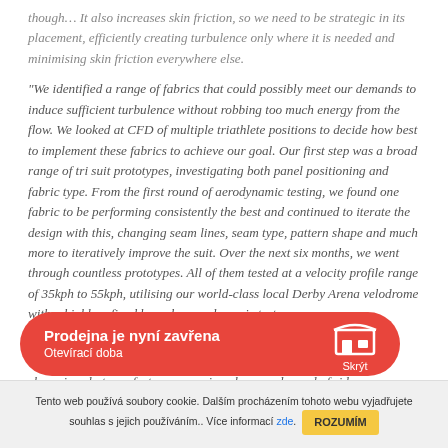though… It also increases skin friction, so we need to be strategic in its placement, efficiently creating turbulence only where it is needed and minimising skin friction everywhere else.
“We identified a range of fabrics that could possibly meet our demands to induce sufficient turbulence without robbing too much energy from the flow. We looked at CFD of multiple triathlete positions to decide how best to implement these fabrics to achieve our goal. Our first step was a broad range of tri suit prototypes, investigating both panel positioning and fabric type. From the first round of aerodynamic testing, we found one fabric to be performing consistently the best and continued to iterate the design with this, changing seam lines, seam type, pattern shape and much more to iteratively improve the suit. Over the next six months, we went through countless prototypes. All of them tested at a velocity profile range of 35kph to 55kph, utilising our world-class local Derby Arena velodrome with a highly refined bespoke aerodynamic test [...]letes. We wanted to [...] and Olympic champions but was fast on every size, shape and speed of rider.
[Figure (other): Red popup banner reading 'Prodejna je nyní zavřena / Otevírací doba' with a shop icon and 'Skrýt' (Hide) button]
Tento web používá soubory cookie. Dalším procházením tohoto webu vyjadřujete souhlas s jejich používáním.. Více informací zde. ROZUMÍM